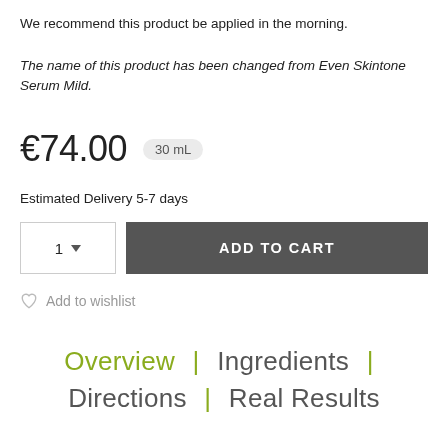We recommend this product be applied in the morning.
The name of this product has been changed from Even Skintone Serum Mild.
€74.00    30 mL
Estimated Delivery 5-7 days
[Figure (other): Quantity selector showing '1' with a dropdown arrow, and an 'ADD TO CART' button in dark grey]
Add to wishlist
Overview  |  Ingredients  |  Directions  |  Real Results